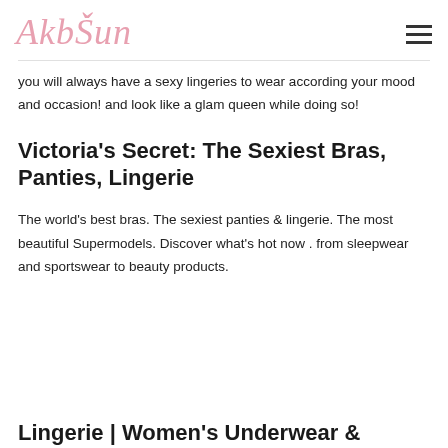AkbŠun
you will always have a sexy lingeries to wear according your mood and occasion! and look like a glam queen while doing so!
Victoria's Secret: The Sexiest Bras, Panties, Lingerie
The world's best bras. The sexiest panties & lingerie. The most beautiful Supermodels. Discover what's hot now . from sleepwear and sportswear to beauty products.
Lingerie | Women's Underwear &